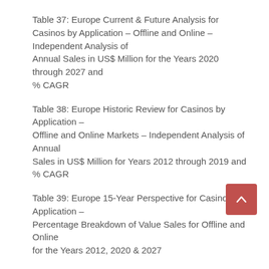Table 37: Europe Current & Future Analysis for Casinos by Application – Offline and Online – Independent Analysis of Annual Sales in US$ Million for the Years 2020 through 2027 and % CAGR
Table 38: Europe Historic Review for Casinos by Application – Offline and Online Markets – Independent Analysis of Annual Sales in US$ Million for Years 2012 through 2019 and % CAGR
Table 39: Europe 15-Year Perspective for Casinos by Application – Percentage Breakdown of Value Sales for Offline and Online for the Years 2012, 2020 & 2027
FRANCE
Table 40: France Current & Future Analysis for Casinos by